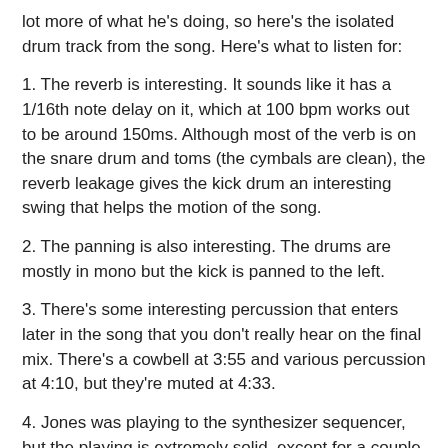lot more of what he's doing, so here's the isolated drum track from the song. Here's what to listen for:
1. The reverb is interesting. It sounds like it has a 1/16th note delay on it, which at 100 bpm works out to be around 150ms. Although most of the verb is on the snare drum and toms (the cymbals are clean), the reverb leakage gives the kick drum an interesting swing that helps the motion of the song.
2. The panning is also interesting. The drums are mostly in mono but the kick is panned to the left.
3. There's some interesting percussion that enters later in the song that you don't really hear on the final mix. There's a cowbell at 3:55 and various percussion at 4:10, but they're muted at 4:33.
4. Jones was playing to the synthesizer sequencer, but the playing is extremely solid, except for a couple of ever so slightly lazy fills (I'm getting really picky here).